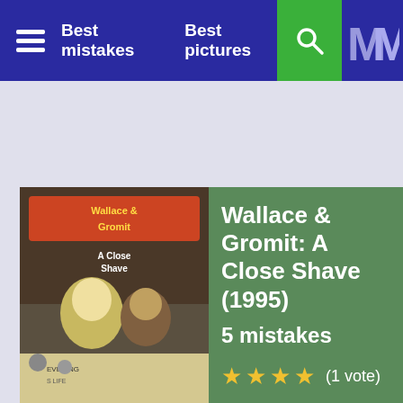Best mistakes   Best pictures
[Figure (screenshot): Wallace & Gromit: A Close Shave (1995) movie cover image]
Wallace & Gromit: A Close Shave (1995)
5 mistakes
★★★★ (1 vote)